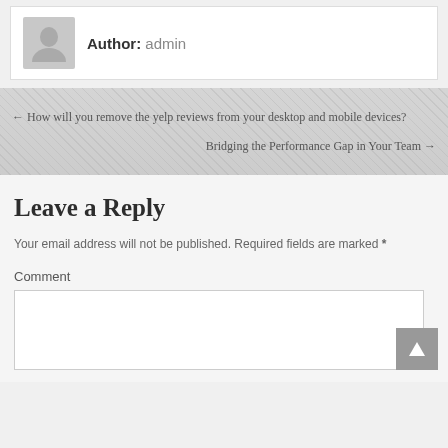Author: admin
← How will you remove the yelp reviews from your desktop and mobile devices?
Bridging the Performance Gap in Your Team →
Leave a Reply
Your email address will not be published. Required fields are marked *
Comment